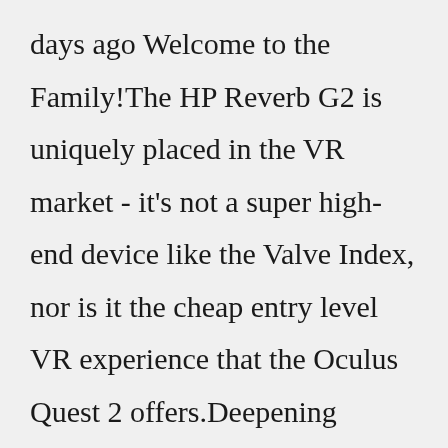days ago Welcome to the Family!The HP Reverb G2 is uniquely placed in the VR market - it's not a super high-end device like the Valve Index, nor is it the cheap entry level VR experience that the Oculus Quest 2 offers.Deepening gameplay - Rediscover your favorite saber game, performing newer tricks by twisting and turning the ProSaber in many ways. Power and style - Impersonate the all-time favorite red-shirted Darth Lord, discredit the enemy...